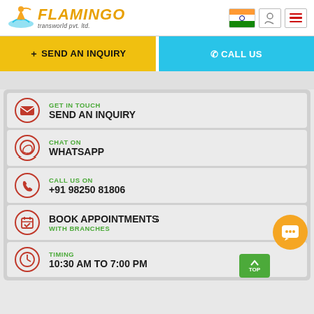[Figure (logo): Flamingo Transworld Pvt. Ltd. logo with bird/boat icon]
+ SEND AN INQUIRY
✆ CALL US
GET IN TOUCH
SEND AN INQUIRY
CHAT ON
WHATSAPP
CALL US ON
+91 98250 81806
BOOK APPOINTMENTS
WITH BRANCHES
TIMING
10:30 AM TO 7:00 PM